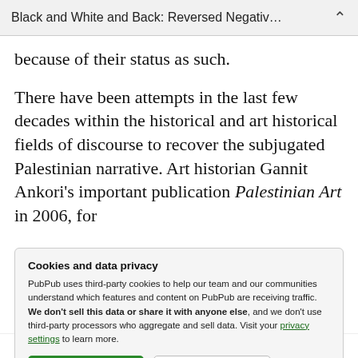Black and White and Back: Reversed Negativ…
because of their status as such.
There have been attempts in the last few decades within the historical and art historical fields of discourse to recover the subjugated Palestinian narrative. Art historian Gannit Ankori's important publication Palestinian Art in 2006, for
Cookies and data privacy
PubPub uses third-party cookies to help our team and our communities understand which features and content on PubPub are receiving traffic. We don't sell this data or share it with anyone else, and we don't use third-party processors who aggregate and sell data. Visit your privacy settings to learn more.
historians and theorists, is indebted to